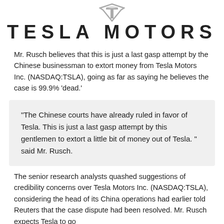[Figure (logo): Tesla Motors logo with T shield emblem and TESLA MOTORS wordmark]
Mr. Rusch believes that this is just a last gasp attempt by the Chinese businessman to extort money from Tesla Motors Inc. (NASDAQ:TSLA), going as far as saying he believes the case is 99.9% ‘dead.’
“The Chinese courts have already ruled in favor of Tesla. This is just a last gasp attempt by this gentlemen to extort a little bit of money out of Tesla. ” said Mr. Rusch.
The senior research analysts quashed suggestions of credibility concerns over Tesla Motors Inc. (NASDAQ:TSLA), considering the head of its China operations had earlier told Reuters that the case dispute had been resolved. Mr. Rusch expects Tesla to go